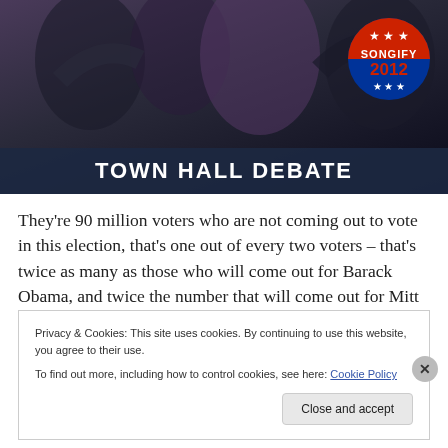[Figure (screenshot): Town Hall Debate screenshot with Songify 2012 badge in top right, dark banner at bottom reading TOWN HALL DEBATE]
They’re 90 million voters who are not coming out to vote in this election, that’s one out of every two voters – that’s twice as many as those who will come out for Barack Obama, and twice the number that will come out for Mitt Romney. Those are voters who are saying ‘No’ to politics as usual, and ‘No’ to the Democratic and Republican
Privacy & Cookies: This site uses cookies. By continuing to use this website, you agree to their use.
To find out more, including how to control cookies, see here: Cookie Policy